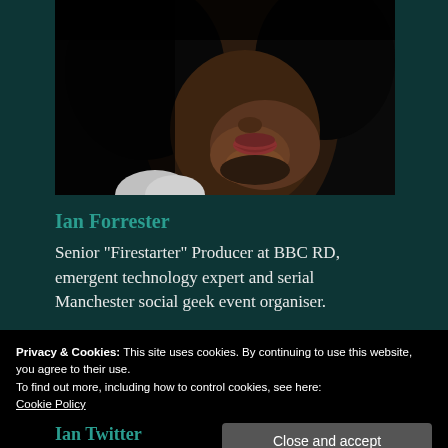[Figure (photo): Close-up portrait photograph of a Black man's face, dimly lit, showing lower face with beard and lips, high contrast black background]
Ian Forrester
Senior "Firestarter" Producer at BBC RD, emergent technology expert and serial Manchester social geek event organiser.
Privacy & Cookies: This site uses cookies. By continuing to use this website, you agree to their use.
To find out more, including how to control cookies, see here:
Cookie Policy
Ian Twitter